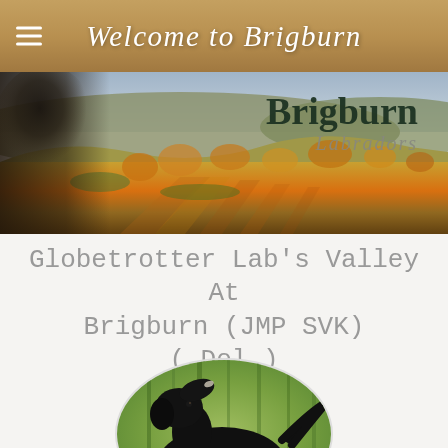Welcome to Brigburn
[Figure (photo): Panoramic landscape banner image showing rolling hills with autumn/fall foliage in orange and yellow hues, with sky visible at top. A dark Labrador dog head is visible on the left side. Brigburn Labradors text overlaid on the right side of the banner.]
Globetrotter Lab's Valley At Brigburn (JMP SVK)
( Del )
[Figure (photo): Circular cropped photo of a black Labrador dog standing outdoors in a field, looking upward with mouth slightly open. Dog is shown in profile with a green blurred background.]